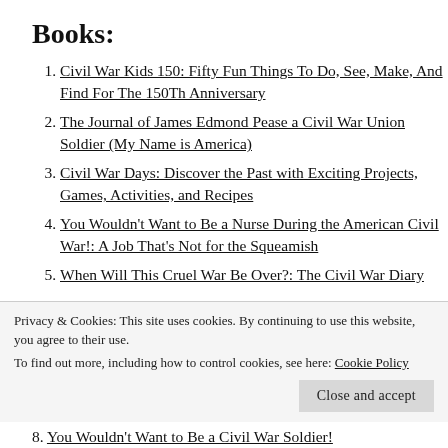Books:
Civil War Kids 150: Fifty Fun Things To Do, See, Make, And Find For The 150Th Anniversary
The Journal of James Edmond Pease a Civil War Union Soldier (My Name is America)
Civil War Days: Discover the Past with Exciting Projects, Games, Activities, and Recipes
You Wouldn't Want to Be a Nurse During the American Civil War!: A Job That's Not for the Squeamish
When Will This Cruel War Be Over?: The Civil War Diary
You Wouldn't Want to Be a Civil War Soldier!
Privacy & Cookies: This site uses cookies. By continuing to use this website, you agree to their use.
To find out more, including how to control cookies, see here: Cookie Policy
Close and accept